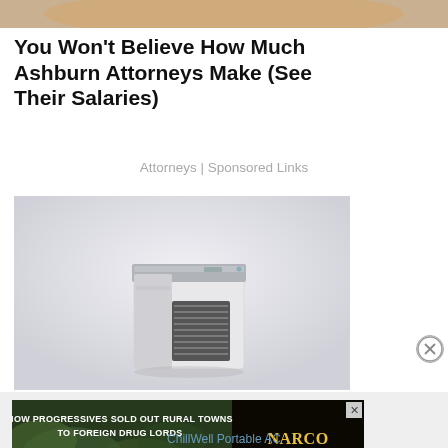[Figure (photo): Cropped top portion of a person with blonde hair, only hair visible]
You Won't Believe How Much Ashburn Attorneys Make (See Their Salaries)
Attorneys | Sponsored Links
[Figure (photo): A small portable air conditioner/personal air cooler, white and silver, on a light gray background]
[Figure (infographic): Ad banner: HOW PROGRESSIVES SOLD OUT RURAL TOWNS TO FOREIGN DRUG LORDS - NARCOFORNIA - WATCH NOW button]
ChillWell Portable AC